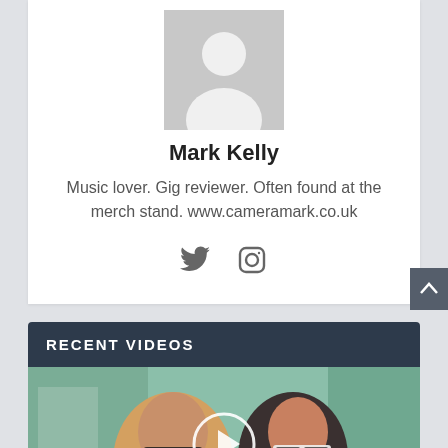[Figure (illustration): Gray default user avatar/silhouette placeholder image]
Mark Kelly
Music lover. Gig reviewer. Often found at the merch stand. www.cameramark.co.uk
[Figure (illustration): Twitter and Instagram social media icons]
RECENT VIDEOS
[Figure (photo): Two young women wearing sunglasses, a video thumbnail with a play button overlay]